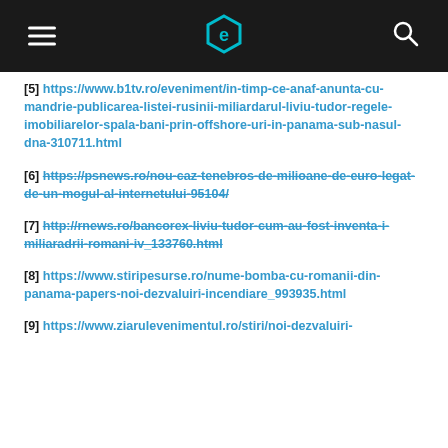Navigation header with logo
[5] https://www.b1tv.ro/eveniment/in-timp-ce-anaf-anunta-cu-mandrie-publicarea-listei-rusinii-miliardarul-liviu-tudor-regele-imobiliarelor-spala-bani-prin-offshore-uri-in-panama-sub-nasul-dna-310711.html
[6] https://psnews.ro/nou-caz-tenebros-de-milioane-de-euro-legat-de-un-mogul-al-internetului-95104/
[7] http://rnews.ro/bancorex-liviu-tudor-cum-au-fost-inventa-i-miliaradrii-romani-iv_133760.html
[8] https://www.stiripesurse.ro/nume-bomba-cu-romanii-din-panama-papers-noi-dezvaluiri-incendiare_993935.html
[9] https://www.ziarulevenimentul.ro/stiri/noi-dezvaluiri-